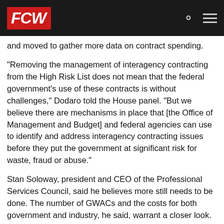FCW
and moved to gather more data on contract spending.
"Removing the management of interagency contracting from the High Risk List does not mean that the federal government's use of these contracts is without challenges," Dodaro told the House panel. "But we believe there are mechanisms in place that [the Office of Management and Budget] and federal agencies can use to identify and address interagency contracting issues before they put the government at significant risk for waste, fraud or abuse."
Stan Soloway, president and CEO of the Professional Services Council, said he believes more still needs to be done. The number of GWACs and the costs for both government and industry, he said, warrant a closer look. "To know whether there are too many GWACs and duplication, and where that duplication arises, we need to really understand what it is that each GWAC offers and how they map against each other," he said. "I don't think that analysis has been